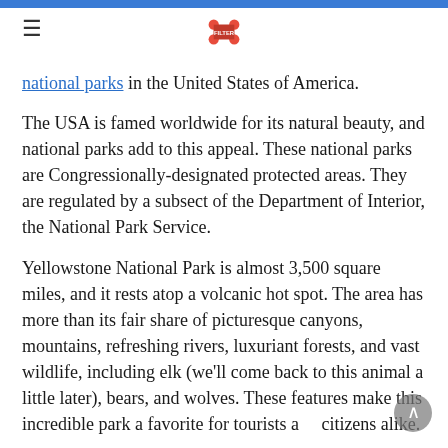national parks in the United States of America.
The USA is famed worldwide for its natural beauty, and national parks add to this appeal. These national parks are Congressionally-designated protected areas. They are regulated by a subsect of the Department of Interior, the National Park Service.
Yellowstone National Park is almost 3,500 square miles, and it rests atop a volcanic hot spot. The area has more than its fair share of picturesque canyons, mountains, refreshing rivers, luxuriant forests, and vast wildlife, including elk (we'll come back to this animal a little later), bears, and wolves. These features make this incredible park a favorite for tourists and citizens alike.